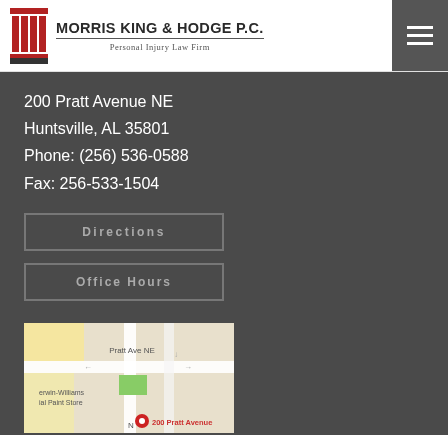[Figure (logo): Morris King & Hodge P.C. law firm logo with red column icon and firm name]
200 Pratt Avenue NE
Huntsville, AL 35801
Phone: (256) 536-0588
Fax: 256-533-1504
Directions
Office Hours
[Figure (map): Google Maps screenshot showing 200 Pratt Avenue NE, Huntsville area with Pratt Ave NE label and red location pin]